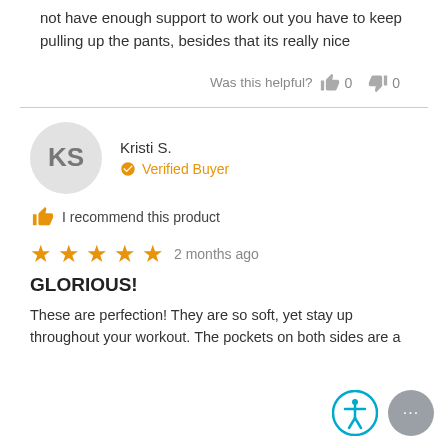not have enough support to work out you have to keep pulling up the pants, besides that its really nice
Was this helpful? 0 0
[Figure (other): Avatar circle with initials KS for reviewer Kristi S.]
Kristi S.
Verified Buyer
I recommend this product
2 months ago
GLORIOUS!
These are perfection! They are so soft, yet stay up throughout your workout. The pockets on both sides are a